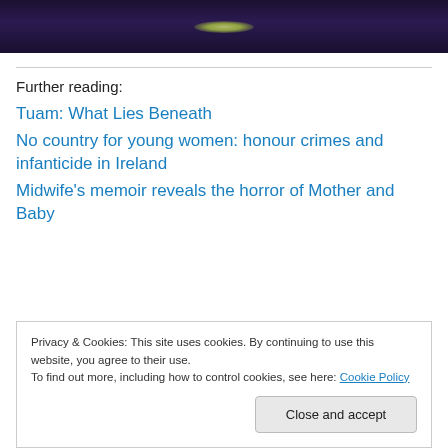[Figure (photo): Dark atmospheric image with a glowing greenish element against deep purple/dark background]
Further reading:
Tuam: What Lies Beneath
No country for young women: honour crimes and infanticide in Ireland
Midwife’s memoir reveals the horror of Mother and Baby
Privacy & Cookies: This site uses cookies. By continuing to use this website, you agree to their use.
To find out more, including how to control cookies, see here: Cookie Policy
Close and accept